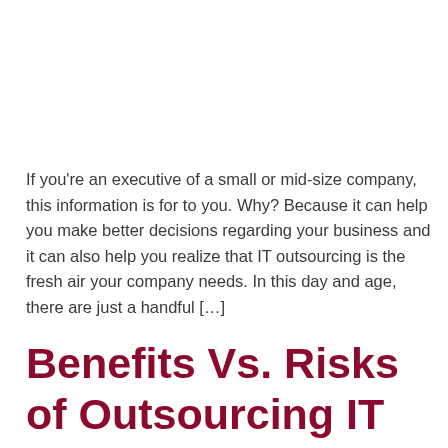If you're an executive of a small or mid-size company, this information is for to you. Why? Because it can help you make better decisions regarding your business and it can also help you realize that IT outsourcing is the fresh air your company needs. In this day and age, there are just a handful […]
Benefits Vs. Risks of Outsourcing IT Services
Large enterprises and small businesses often choose to outsource their information technology (IT) systems and